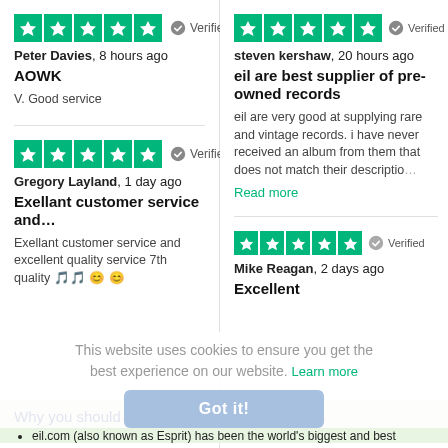[Figure (screenshot): Trustpilot review card: Peter Davies, 8 hours ago, 5 stars, Verified. Title: AOWK. Text: V. Good service]
[Figure (screenshot): Trustpilot review card: Gregory Layland, 1 day ago, 5 stars, Verified. Title: Exellant customer service and... Text: Exellant customer service and excellent quality service 7th quality...]
[Figure (screenshot): Trustpilot review card: steven kershaw, 20 hours ago, 5 stars, Verified. Title: eil are best supplier of pre-owned records. Text: eil are very good at supplying rare and vintage records. i have never received an album from them that does not match their description. Read more]
[Figure (screenshot): Trustpilot review card: Mike Reagan, 2 days ago, 5 stars, Verified. Title: Excellent]
This website uses cookies to ensure you get the best experience on our website. Learn more
Got it!
Why you should buy fro
eil.com (also known as Esprit) has been the world's biggest and best